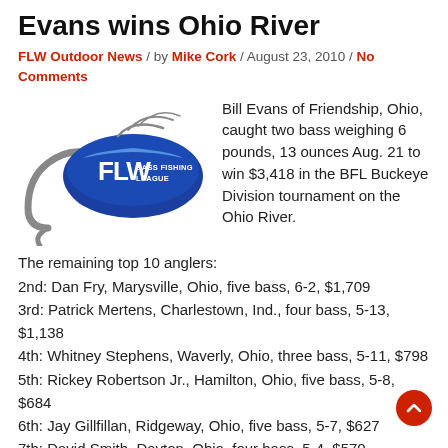Evans wins Ohio River
FLW Outdoor News / by Mike Cork / August 23, 2010 / No Comments
[Figure (logo): FLW Bass Fishing League logo — blue oval with FLW text and fishing hook]
Bill Evans of Friendship, Ohio, caught two bass weighing 6 pounds, 13 ounces Aug. 21 to win $3,418 in the BFL Buckeye Division tournament on the Ohio River.
The remaining top 10 anglers:
2nd: Dan Fry, Marysville, Ohio, five bass, 6-2, $1,709
3rd: Patrick Mertens, Charlestown, Ind., four bass, 5-13, $1,138
4th: Whitney Stephens, Waverly, Ohio, three bass, 5-11, $798
5th: Rickey Robertson Jr., Hamilton, Ohio, five bass, 5-8, $684
6th: Jay Gillfillan, Ridgeway, Ohio, five bass, 5-7, $627
7th: David Smith, Dayton, Ohio, four bass, 5-4, $570